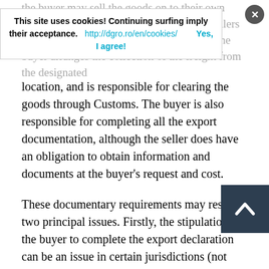the buyer may sell the goods on to their own customer for collection from the original sellers warehouse. However, in common practice the buyer arranges the collection of the freight from the designated
[Figure (screenshot): Cookie consent banner overlay with text 'This site uses cookies! Continuing surfing imply their acceptance.' and link 'http://dgro.ro/en/cookies/' and button 'Yes, I agree!' with a close (X) button]
location, and is responsible for clearing the goods through Customs. The buyer is also responsible for completing all the export documentation, although the seller does have an obligation to obtain information and documents at the buyer's request and cost.
These documentary requirements may result in two principal issues. Firstly, the stipulation for the buyer to complete the export declaration can be an issue in certain jurisdictions (not least the European Union) where the customs regulations require the declarant to be either an individual or corporation resident within the jurisdiction. If the buyer is based outside of the customs jurisdiction they will be unable to clear the goods for export, meaning that the goods may be declared in the name of the seller, in breach of the EXW term.
Secondly, most jurisdictions require companies to provide proof of export for tax purposes. In an EXW shipment, the buyer is under no obligation to provide such proof to the seller, but the seller
[Figure (other): Dark blue scroll-to-top button with upward chevron arrow, positioned at bottom right]